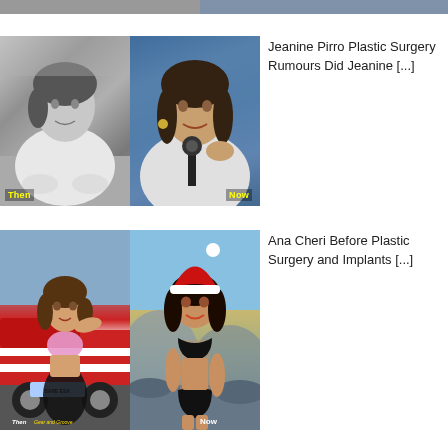[Figure (photo): Cropped top strip of a photo from the page above]
[Figure (photo): Before and after comparison photos of Jeanine Pirro, black and white photo on left labeled Then, color photo on right labeled Now]
Jeanine Pirro Plastic Surgery Rumours Did Jeanine [...]
[Figure (photo): Before and after comparison photos of Ana Cheri, photo with red car on left labeled Then with Gear and Groove logo, outdoor photo with Santa hat on right labeled Now]
Ana Cheri Before Plastic Surgery and Implants [...]